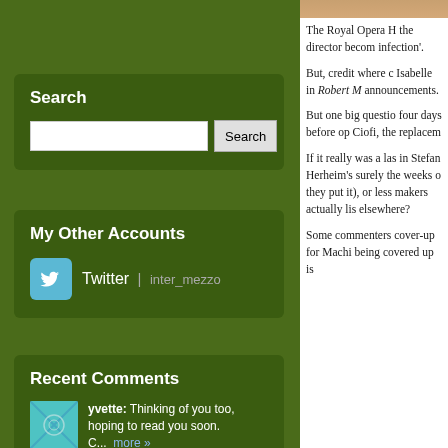[Figure (screenshot): Green sidebar widget area with search box, My Other Accounts (Twitter), and Recent Comments sections]
Search
My Other Accounts
Twitter | inter_mezzo
Recent Comments
yvette: Thinking of you too, hoping to read you soon. C... more » ON OPERA HOLLAND PARK TICKET OFFER
Siggy: Just to note that the remaining performances ha... more
The Royal Opera H the director becom infection'.
But, credit where c Isabelle in Robert M announcements.
But one big questio four days before op Ciofi, the replacem
If it really was a las in Stefan Herheim's surely the weeks o they put it), or less makers actually lis elsewhere?
Some commenters cover-up for Machi being covered up is
4 Dec 2012 02:04:40